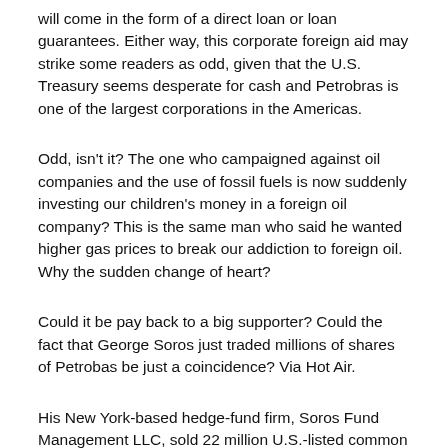will come in the form of a direct loan or loan guarantees. Either way, this corporate foreign aid may strike some readers as odd, given that the U.S. Treasury seems desperate for cash and Petrobras is one of the largest corporations in the Americas.
Odd, isn't it? The one who campaigned against oil companies and the use of fossil fuels is now suddenly investing our children's money in a foreign oil company? This is the same man who said he wanted higher gas prices to break our addiction to foreign oil. Why the sudden change of heart?
Could it be pay back to a big supporter? Could the fact that George Soros just traded millions of shares of Petrobas be just a coincidence? Via Hot Air.
His New York-based hedge-fund firm, Soros Fund Management LLC, sold 22 million U.S.-listed common shares of Petrobras, as the Brazilian oil company is known, according to a filing today.